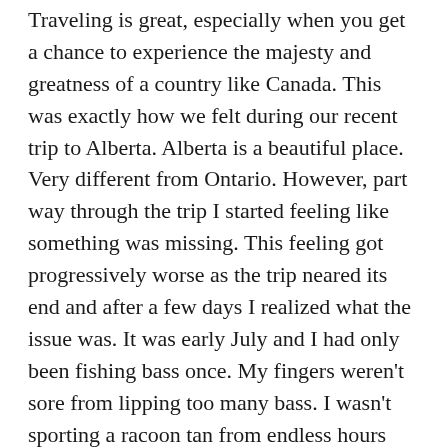Traveling is great, especially when you get a chance to experience the majesty and greatness of a country like Canada.  This was exactly how we felt during our recent trip to Alberta.  Alberta is a beautiful place.  Very different from Ontario.  However, part way through the trip I started feeling like something was missing.  This feeling got progressively worse as the trip neared its end and after a few days I realized what the issue was.  It was early July and I had only been fishing bass once.  My fingers weren't sore from lipping too many bass.  I wasn't sporting a racoon tan from endless hours pounding the slop with minimal sunscreen.  It was as if my body was rejecting this cushy non hardcore existence.
Thankfully, I'm happy to report the withdrawal...